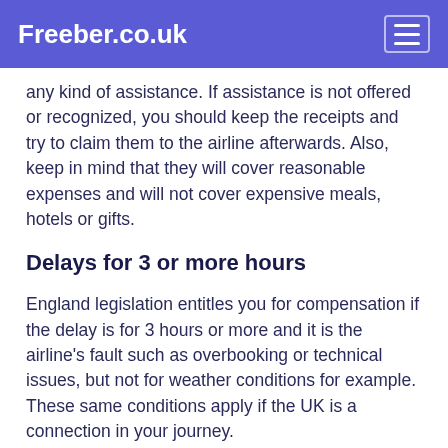Freeber.co.uk
any kind of assistance. If assistance is not offered or recognized, you should keep the receipts and try to claim them to the airline afterwards. Also, keep in mind that they will cover reasonable expenses and will not cover expensive meals, hotels or gifts.
Delays for 3 or more hours
England legislation entitles you for compensation if the delay is for 3 hours or more and it is the airline's fault such as overbooking or technical issues, but not for weather conditions for example. These same conditions apply if the UK is a connection in your journey.